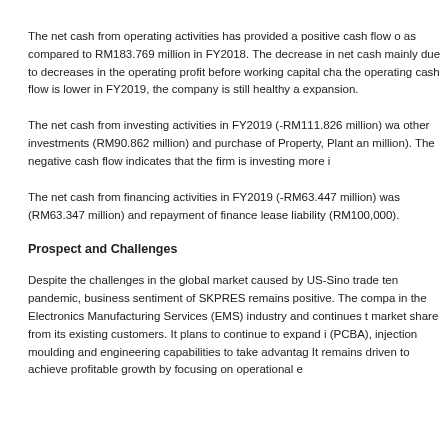The net cash from operating activities has provided a positive cash flow of as compared to RM183.769 million in FY2018. The decrease in net cash mainly due to decreases in the operating profit before working capital cha the operating cash flow is lower in FY2019, the company is still healthy a expansion.
The net cash from investing activities in FY2019 (-RM111.826 million) wa other investments (RM90.862 million) and purchase of Property, Plant an million). The negative cash flow indicates that the firm is investing more i
The net cash from financing activities in FY2019 (-RM63.447 million) was (RM63.347 million) and repayment of finance lease liability (RM100,000).
Prospect and Challenges
Despite the challenges in the global market caused by US-Sino trade ten pandemic, business sentiment of SKPRES remains positive. The compa in the Electronics Manufacturing Services (EMS) industry and continues t market share from its existing customers. It plans to continue to expand i (PCBA), injection moulding and engineering capabilities to take advantag It remains driven to achieve profitable growth by focusing on operational e